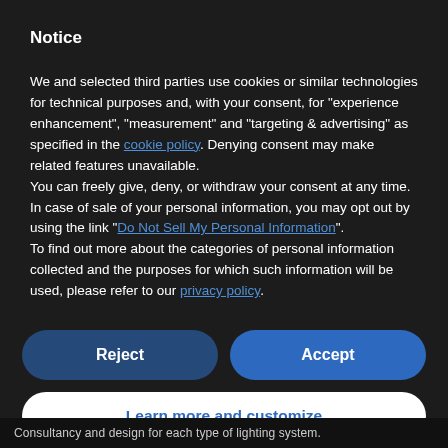Notice
We and selected third parties use cookies or similar technologies for technical purposes and, with your consent, for "experience enhancement", "measurement" and "targeting & advertising" as specified in the cookie policy. Denying consent may make related features unavailable.
You can freely give, deny, or withdraw your consent at any time.
In case of sale of your personal information, you may opt out by using the link "Do Not Sell My Personal Information".
To find out more about the categories of personal information collected and the purposes for which such information will be used, please refer to our privacy policy.
Reject
Accept
Learn more and customize
Consultancy and design for each type of lighting system.